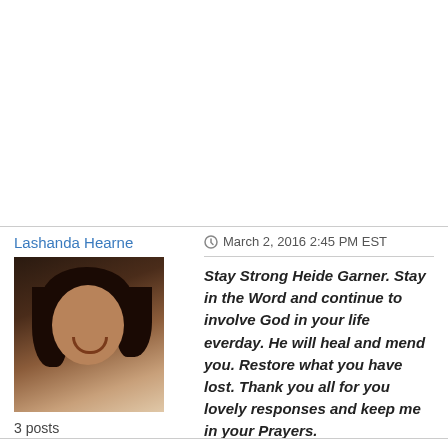kind touch manywould tell me did not care listen well thankful go forgiven me that say I don,t have disabily from ssi for boilpolor some day like get my poems published so tankyou for sharing words pain was blessing to know their those warror in kingdom so keep sharing sister.
Lashanda Hearne
March 2, 2016 2:45 PM EST
3 posts
Stay Strong Heide Garner. Stay in the Word and continue to involve God in your life everday. He will heal and mend you. Restore what you have lost. Thank you all for you lovely responses and keep me in your Prayers.